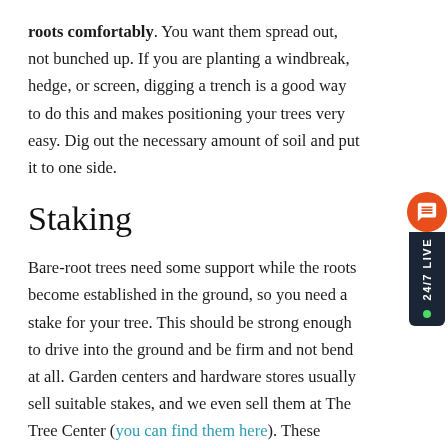roots comfortably. You want them spread out, not bunched up. If you are planting a windbreak, hedge, or screen, digging a trench is a good way to do this and makes positioning your trees very easy. Dig out the necessary amount of soil and put it to one side.
Staking
Bare-root trees need some support while the roots become established in the ground, so you need a stake for your tree. This should be strong enough to drive into the ground and be firm and not bend at all. Garden centers and hardware stores usually sell suitable stakes, and we even sell them at The Tree Center (you can find them here). These should be put in before placing the tree in the hole, so that you don't accidentally damage the roots driving it in after